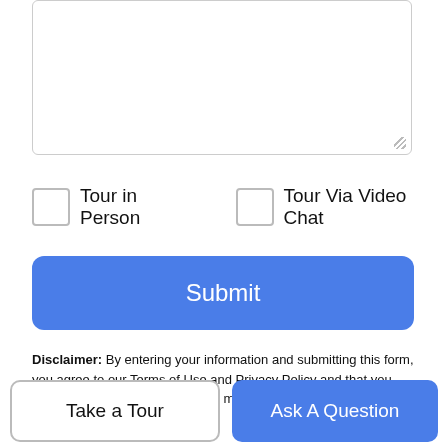(textarea input box)
Tour in Person
Tour Via Video Chat
Submit
Disclaimer: By entering your information and submitting this form, you agree to our Terms of Use and Privacy Policy and that you may be contacted by phone, text message and email about your inquiry.
Based on information from California Regional Multiple Listing Service, Inc. as of 2022-08-28T13:27:02.783. This information is for your personal, non-commercial use and may not be used for any purpose other than to identify prospective properties you may
Take a Tour
Ask A Question